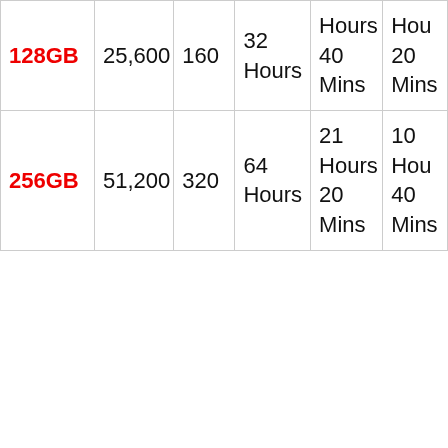| 128GB | 25,600 | 160 | 32 Hours | Hours 40 Mins | Hours 20 Mins |
| 256GB | 51,200 | 320 | 64 Hours | 21 Hours 20 Mins | 10 Hours 40 Mins |